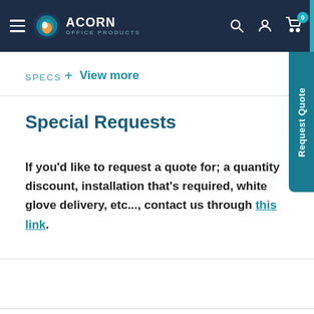Acorn Office Products
SPECS
+ View more
Special Requests
If you'd like to request a quote for; a quantity discount, installation that's required, white glove delivery, etc..., contact us through this link.